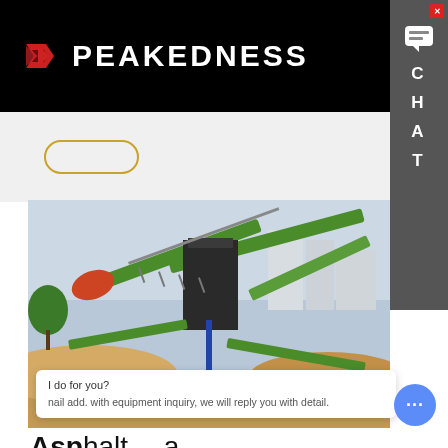PEAKEDNESS
[Figure (photo): Industrial mixing / screening plant with green conveyor belts and machinery surrounded by large piles of sand/gravel aggregate material, with buildings visible in the background]
Asphalt Mixing Plant
I do for you? nail add. with equipment inquiry, we will reply you with detail.